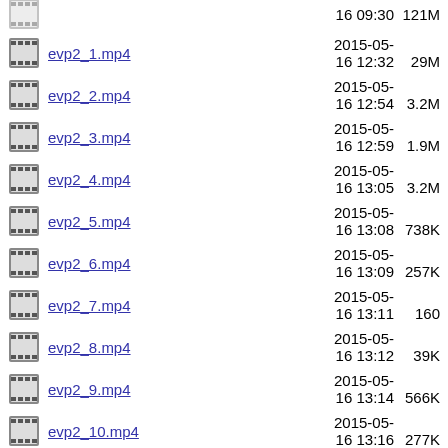evp2_1.mp4  2015-05-16 12:32  29M
evp2_2.mp4  2015-05-16 12:54  3.2M
evp2_3.mp4  2015-05-16 12:59  1.9M
evp2_4.mp4  2015-05-16 13:05  3.2M
evp2_5.mp4  2015-05-16 13:08  738K
evp2_6.mp4  2015-05-16 13:09  257K
evp2_7.mp4  2015-05-16 13:11  160
evp2_8.mp4  2015-05-16 13:12  39K
evp2_9.mp4  2015-05-16 13:14  566K
evp2_10.mp4  2015-05-16 13:16  277K
evp2_11.mp4  2015-05-16 13:18  170K